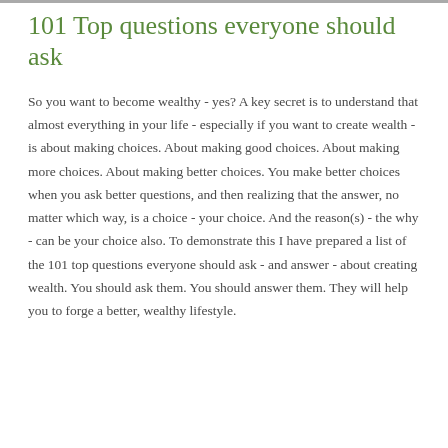101 Top questions everyone should ask
So you want to become wealthy - yes? A key secret is to understand that almost everything in your life - especially if you want to create wealth - is about making choices. About making good choices. About making more choices. About making better choices. You make better choices when you ask better questions, and then realizing that the answer, no matter which way, is a choice - your choice. And the reason(s) - the why - can be your choice also. To demonstrate this I have prepared a list of the 101 top questions everyone should ask - and answer - about creating wealth. You should ask them. You should answer them. They will help you to forge a better, wealthy lifestyle.